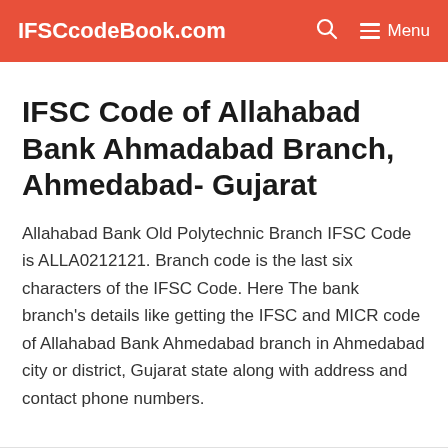IFSCcodeBook.com  Menu
IFSC Code of Allahabad Bank Ahmadabad Branch, Ahmedabad- Gujarat
Allahabad Bank Old Polytechnic Branch IFSC Code is ALLA0212121. Branch code is the last six characters of the IFSC Code. Here The bank branch's details like getting the IFSC and MICR code of Allahabad Bank Ahmedabad branch in Ahmedabad city or district, Gujarat state along with address and contact phone numbers.